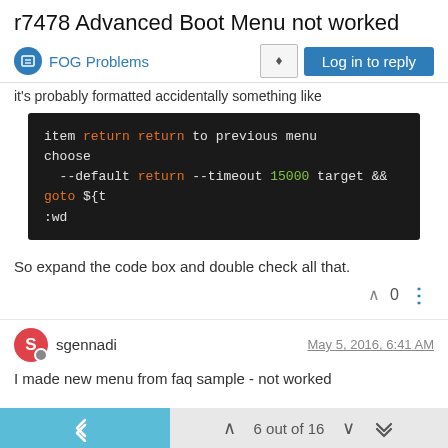r7478 Advanced Boot Menu not worked
FOG Problems
it's probably formatted accidentally something like
[Figure (screenshot): Dark-themed code block showing iPXE/boot menu script: 'item return return to previous menu\nchoose\n  --default return --timeout 15000 target && goto ${t\n:wd']
So expand the code box and double check all that.
sgennadi
May 5, 2016, 6:41 AM
I made new menu from faq sample - not worked
6 out of 16